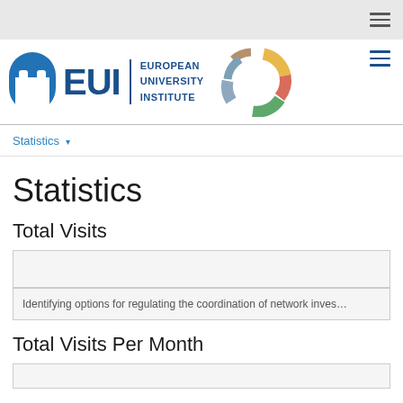[Figure (logo): EUI - European University Institute logo with arch icon and colorful C-shaped emblem]
Statistics ▾
Statistics
Total Visits
Identifying options for regulating the coordination of network inves...
Total Visits Per Month